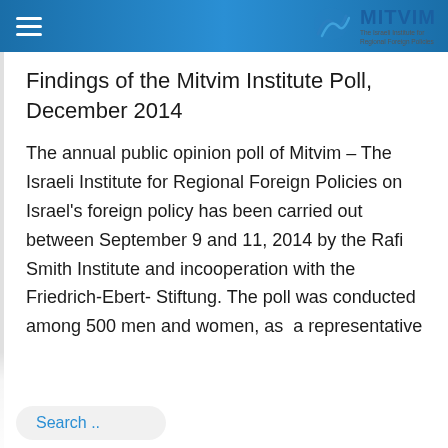MITVIM – The Israeli Institute for Regional Foreign Policies
Findings of the Mitvim Institute Poll, December 2014
The annual public opinion poll of Mitvim – The Israeli Institute for Regional Foreign Policies on Israel's foreign policy has been carried out between September 9 and 11, 2014 by the Rafi Smith Institute and incooperation with the Friedrich-Ebert-Stiftung. The poll was conducted among 500 men and women, as  a representative sample of the Israeli adult population (Jewish and Arab sectors, aged 18 and
Search ..